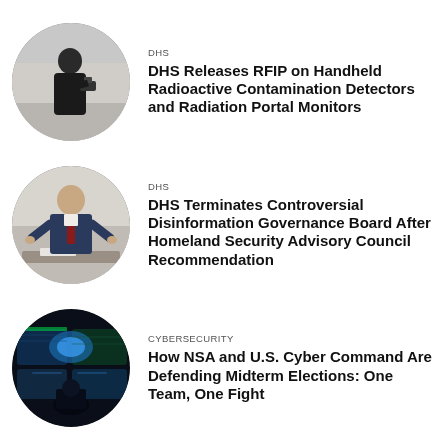[Figure (photo): Circular photo of a person holding a handheld radiation detection device in an indoor setting]
DHS
DHS Releases RFIP on Handheld Radioactive Contamination Detectors and Radiation Portal Monitors
[Figure (photo): Circular photo of a man in a suit gesturing while speaking at a conference table]
DHS
DHS Terminates Controversial Disinformation Governance Board After Homeland Security Advisory Council Recommendation
[Figure (photo): Circular photo of a cybersecurity operations center with screens displaying digital maps and data]
CYBERSECURITY
How NSA and U.S. Cyber Command Are Defending Midterm Elections: One Team, One Fight